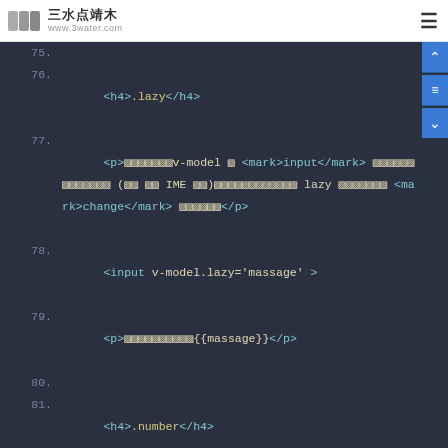三水点靖木 www.3water.com
[Figure (screenshot): Code editor screenshot showing Vue.js HTML template code lines 75-84, with syntax highlighting on dark background (#2b3040). Lines include: 75 (empty), 76: <h4>.lazy</h4>, 77: <p>[Chinese text]v-model [Chinese]<mark>input</mark>[Chinese text](如 如 IME 如如)[Chinese]lazy [Chinese]<mark>change</mark>[Chinese]</p>, 78: <input v-model.lazy='massage' >, 79: <p>[Chinese]{{massage}}</p>, 80 (empty), 81: <h4>.number</h4>, 82: <p>[Chinese] Number 如如([Chinese] NaN [Chinese])[Chinese] number [Chinese] v-model [Chinese]</p>, 83: <!-- vm.age[Chinese]Number -->, 84: <input type="number" v-model.number='age' >]